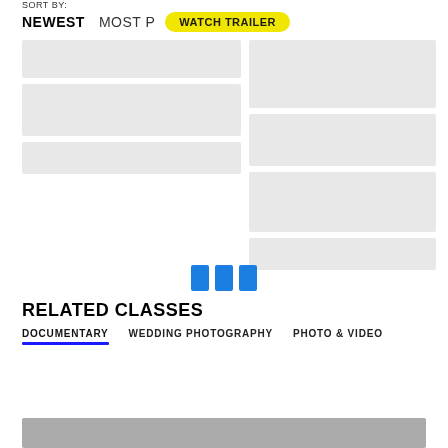SORT BY:
NEWEST   MOST P...
[Figure (screenshot): Yellow pill-shaped button with text WATCH TRAILER]
[Figure (screenshot): Loading skeleton placeholder blocks in two columns — left column has 3 gray rectangles, right column has 4 gray rectangles]
[Figure (infographic): Three vertical blue rectangles acting as a loading indicator]
RELATED CLASSES
DOCUMENTARY   WEDDING PHOTOGRAPHY   PHOTO & VIDEO
[Figure (screenshot): Bottom dark gray image strip]